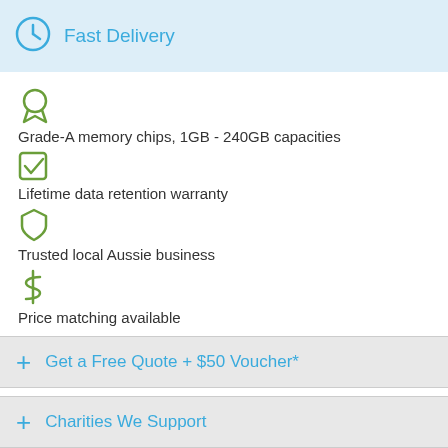Fast Delivery
Grade-A memory chips, 1GB - 240GB capacities
Lifetime data retention warranty
Trusted local Aussie business
Price matching available
Get a Free Quote + $50 Voucher*
Charities We Support
Seeking a corporate flash drive that can have a full colour logo?